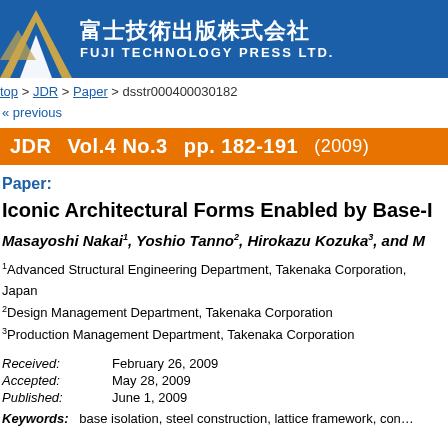[Figure (logo): Fuji Technology Press Ltd. logo with mountain icon and Japanese/English text on blue background]
top > JDR > Paper > dsstr000400030182
« previous
JDR  Vol.4 No.3  pp. 182-191  (2009)
Paper:
Iconic Architectural Forms Enabled by Base-I
Masayoshi Nakai¹, Yoshio Tanno², Hirokazu Kozuka³, and M
1Advanced Structural Engineering Department, Takenaka Corporation, Japan
2Design Management Department, Takenaka Corporation
3Production Management Department, Takenaka Corporation
Received: February 26, 2009
Accepted: May 28, 2009
Published: June 1, 2009
Keywords: base isolation, steel construction, lattice framework, concrete...